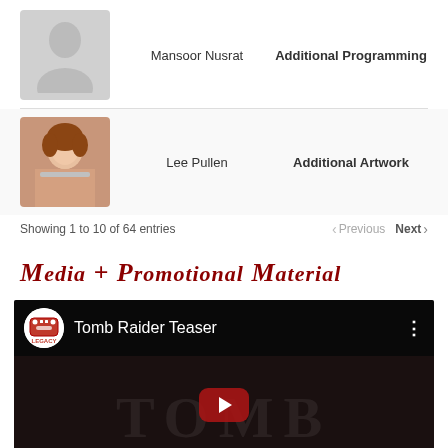[Figure (photo): Placeholder silhouette avatar for Mansoor Nusrat]
Mansoor Nusrat
Additional Programming
[Figure (photo): Photo of Lee Pullen]
Lee Pullen
Additional Artwork
Showing 1 to 10 of 64 entries
Previous  Next
Media + Promotional Material
[Figure (screenshot): YouTube video embed showing 'Tomb Raider Teaser' with VG Legacy channel logo and dark video thumbnail with red play button]